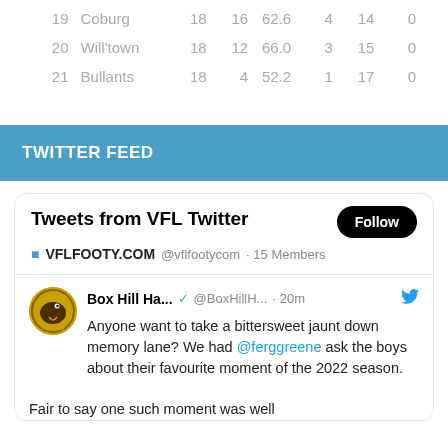| # | Team |  |  |  |  |  |  |
| --- | --- | --- | --- | --- | --- | --- | --- |
| 19 | Coburg | 18 | 16 | 62.6 | 4 | 14 | 0 |
| 20 | Will'town | 18 | 12 | 66.0 | 3 | 15 | 0 |
| 21 | Bullants | 18 | 4 | 52.2 | 1 | 17 | 0 |
TWITTER FEED
Tweets from VFL Twitter
VFLFOOTY.COM @vllfootycom · 15 Members
Box Hill Ha... @BoxHillH... · 20m
Anyone want to take a bittersweet jaunt down memory lane? We had @ferggreene ask the boys about their favourite moment of the 2022 season.

Fair to say one such moment was well